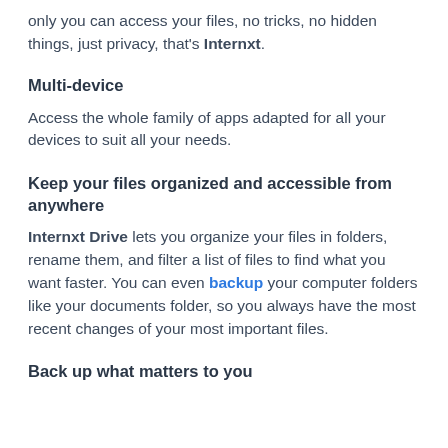only you can access your files, no tricks, no hidden things, just privacy, that's Internxt.
Multi-device
Access the whole family of apps adapted for all your devices to suit all your needs.
Keep your files organized and accessible from anywhere
Internxt Drive lets you organize your files in folders, rename them, and filter a list of files to find what you want faster. You can even backup your computer folders like your documents folder, so you always have the most recent changes of your most important files.
Back up what matters to you